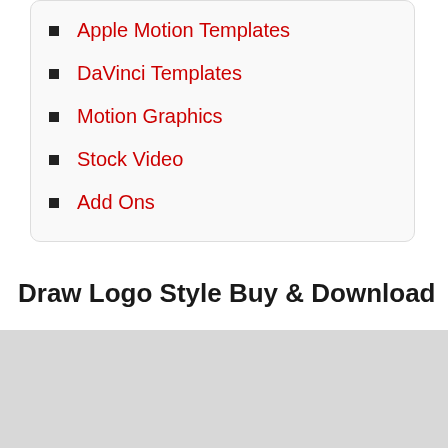Apple Motion Templates
DaVinci Templates
Motion Graphics
Stock Video
Add Ons
Draw Logo Style Buy & Download
[Figure (other): Grey rectangular block area below the section header]